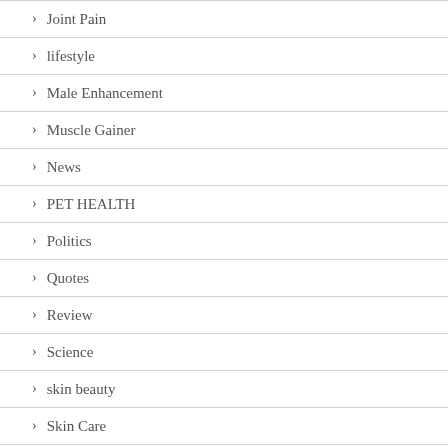Joint Pain
lifestyle
Male Enhancement
Muscle Gainer
News
PET HEALTH
Politics
Quotes
Review
Science
skin beauty
Skin Care
Sports